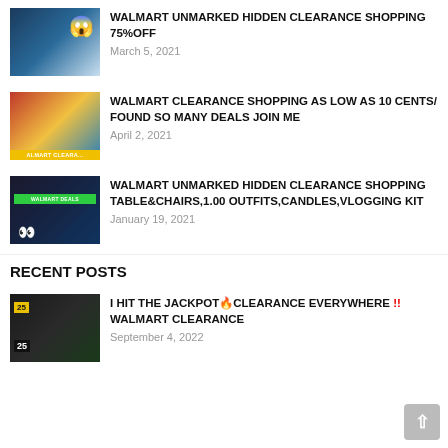WALMART UNMARKED HIDDEN CLEARANCE SHOPPING 75%OFF — March 5, 2021
WALMART CLEARANCE SHOPPING AS LOW AS 10 CENTS/ FOUND SO MANY DEALS JOIN ME — April 2, 2021
WALMART UNMARKED HIDDEN CLEARANCE SHOPPING TABLE&CHAIRS,1.00 OUTFITS,CANDLES,VLOGGING KIT — January 19, 2021
RECENT POSTS
I HIT THE JACKPOT🔥CLEARANCE EVERYWHERE !! WALMART CLEARANCE — September 4, 2022